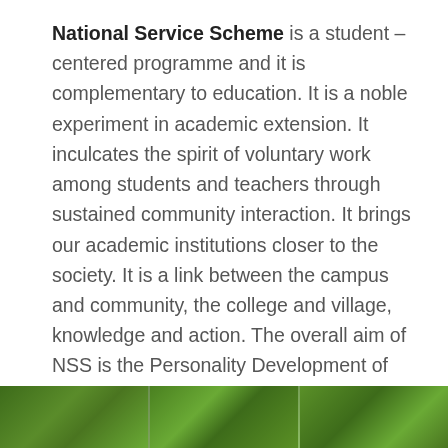National Service Scheme is a student – centered programme and it is complementary to education. It is a noble experiment in academic extension. It inculcates the spirit of voluntary work among students and teachers through sustained community interaction. It brings our academic institutions closer to the society. It is a link between the campus and community, the college and village, knowledge and action. The overall aim of NSS is the Personality Development of students through community service. It gives an extension dimension to Higher Education system and orients the student youth to community service.
[Figure (photo): Photograph strip showing green foliage/trees, divided into multiple segments with lush green vegetation]